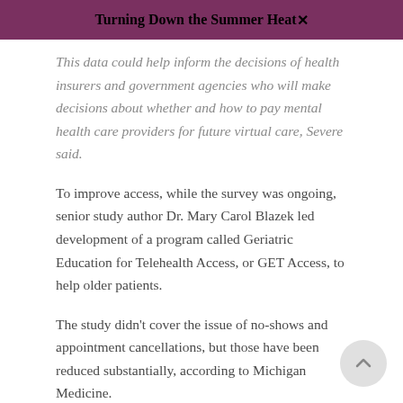Turning Down the Summer Heat
This data could help inform the decisions of health insurers and government agencies who will make decisions about whether and how to pay mental health care providers for future virtual care, Severe said.
To improve access, while the survey was ongoing, senior study author Dr. Mary Carol Blazek led development of a program called Geriatric Education for Telehealth Access, or GET Access, to help older patients.
The study didn't cover the issue of no-shows and appointment cancellations, but those have been reduced substantially, according to Michigan Medicine.
Phone and video visits within established patient-mental health provider relationships are equally effective, Severe said.